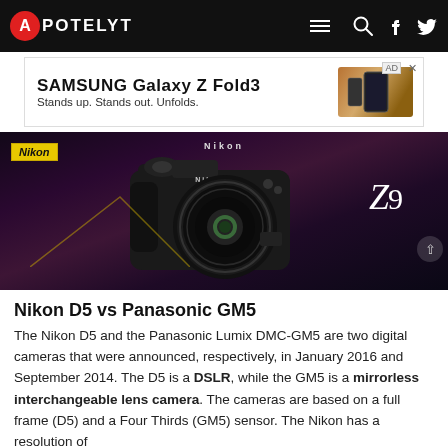APOTELYT
[Figure (screenshot): Samsung Galaxy Z Fold3 advertisement banner with phone illustration and text 'Stands up. Stands out. Unfolds.']
[Figure (photo): Hero image showing a Nikon Z9 mirrorless camera on dark purple/maroon background with Nikon logo badge and Z9 branding text]
Nikon D5 vs Panasonic GM5
The Nikon D5 and the Panasonic Lumix DMC-GM5 are two digital cameras that were announced, respectively, in January 2016 and September 2014. The D5 is a DSLR, while the GM5 is a mirrorless interchangeable lens camera. The cameras are based on a full frame (D5) and a Four Thirds (GM5) sensor. The Nikon has a resolution of